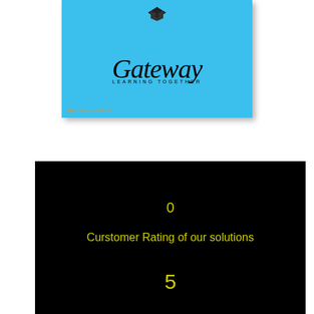[Figure (logo): Gateway Learning Together logo on blue background with graduation cap icon and orange '@essay research' text]
0
Curstomer Rating of our solutions
5